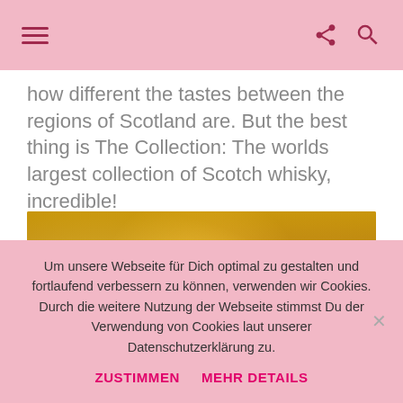Navigation bar with hamburger menu, share icon, and search icon
how different the tastes between the regions of Scotland are. But the best thing is The Collection: The worlds largest collection of Scotch whisky, incredible!
[Figure (photo): Blurred photo of backlit bottles of Scotch whisky on bar shelves, warm amber and golden tones]
Um unsere Webseite für Dich optimal zu gestalten und fortlaufend verbessern zu können, verwenden wir Cookies. Durch die weitere Nutzung der Webseite stimmst Du der Verwendung von Cookies laut unserer Datenschutzerklärung zu.

ZUSTIMMEN  MEHR DETAILS